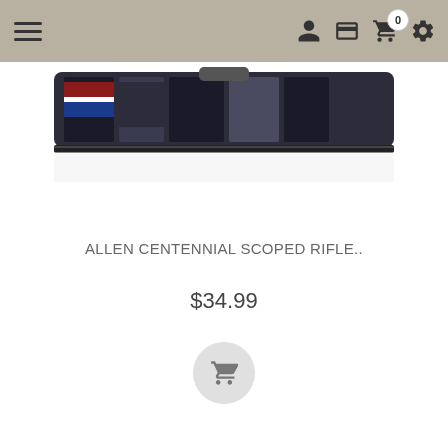Navigation header with hamburger menu, user account icon, card icon, cart with badge 0, and settings icon
[Figure (photo): Product photo of Allen Centennial Scoped Rifle case/bag with camouflage pattern, partially cropped at top]
ALLEN CENTENNIAL SCOPED RIFLE..
$34.99